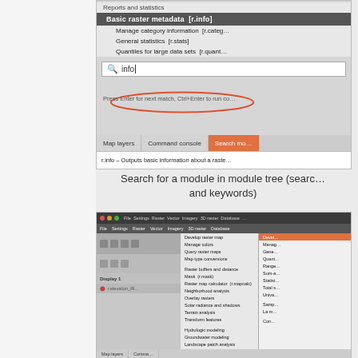[Figure (screenshot): Screenshot of GRASS GIS module tree with search bar showing 'info' query, highlighted oval around 'Press Enter for next match, Ctrl+Enter to run command', and tabs: Map layers, Command console, Search modules. Status bar shows r.info description.]
Search for a module in module tree (search by name and keywords)
[Figure (screenshot): Screenshot of GRASS GIS showing the Raster menu expanded with items including: Develop raster map, Manage colors, Query raster maps, Map type conversions, Raster buffers and distance, Mask (r.mask), Raster map calculator (r.mapcalc), Neighborhood analysis, Overlay rasters, Solar radiance and shadows, Terrain analysis, Transform features, Hydrologic modeling, Groundwater modeling, Landscape patch analysis, Wildfire modeling, Change category values and labels, Generate random cells, Generate surfaces, Interpolate surfaces, Reports and statistics (highlighted in orange).]